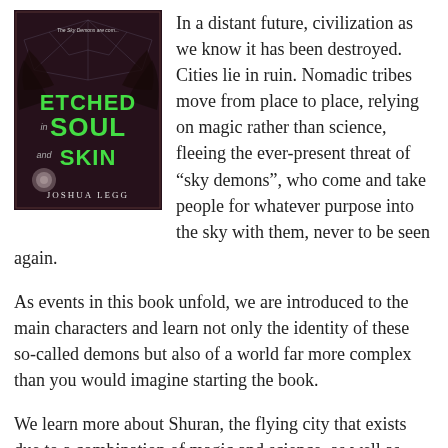[Figure (illustration): Book cover of 'Etched in Soul and Skin' by Joshua Legg. Dark fantasy cover with a spiderweb, wings, and a rose. Title text in green lettering, author name at bottom.]
In a distant future, civilization as we know it has been destroyed. Cities lie in ruin. Nomadic tribes move from place to place, relying on magic rather than science, fleeing the ever-present threat of “sky demons”, who come and take people for whatever purpose into the sky with them, never to be seen again.
As events in this book unfold, we are introduced to the main characters and learn not only the identity of these so-called demons but also of a world far more complex than you would imagine starting the book.
We learn more about Shuran, the flying city that exists due to a combination of magic and science, as well as